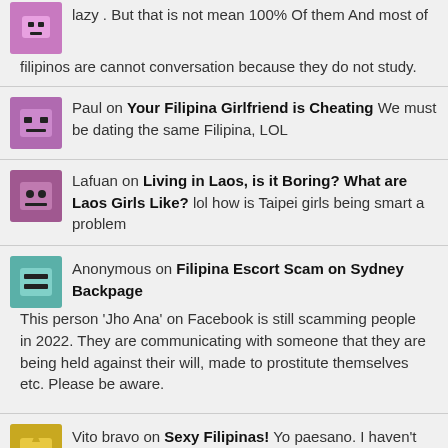lazy . But that is not mean 100% Of them And most of filipinos are cannot conversation because they do not study.
Paul on Your Filipina Girlfriend is Cheating We must be dating the same Filipina, LOL
Lafuan on Living in Laos, is it Boring? What are Laos Girls Like? lol how is Taipei girls being smart a problem
Anonymous on Filipina Escort Scam on Sydney Backpage This person 'Jho Ana' on Facebook is still scamming people in 2022. They are communicating with someone that they are being held against their will, made to prostitute themselves etc. Please be aware.
Vito bravo on Sexy Filipinas! Yo paesano. I haven't been on here much. Last time I sent a message here I don't know what happened to it 🤔🤔🤔. So I figured I try again. I hope you are well